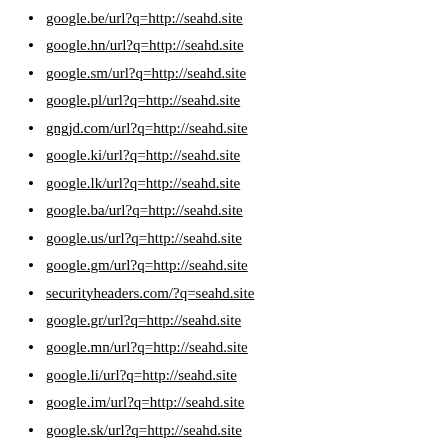google.be/url?q=http://seahd.site
google.hn/url?q=http://seahd.site
google.sm/url?q=http://seahd.site
google.pl/url?q=http://seahd.site
gngjd.com/url?q=http://seahd.site
google.ki/url?q=http://seahd.site
google.lk/url?q=http://seahd.site
google.ba/url?q=http://seahd.site
google.us/url?q=http://seahd.site
google.gm/url?q=http://seahd.site
securityheaders.com/?q=seahd.site
google.gr/url?q=http://seahd.site
google.mn/url?q=http://seahd.site
google.li/url?q=http://seahd.site
google.im/url?q=http://seahd.site
google.sk/url?q=http://seahd.site
google.cn/url?q=http://seahd.site
google.je/url?q=http://seahd.site
google.to/url?q=http://seahd.site